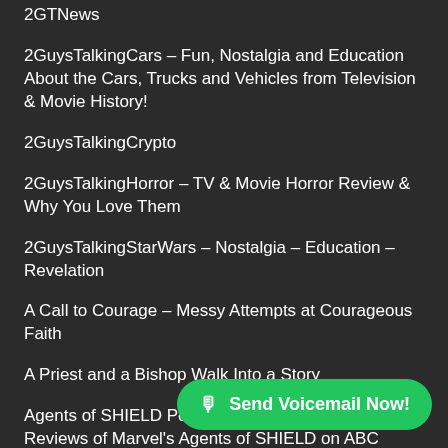2GTNews
2GuysTalkingCars – Fun, Nostalgia and Education About the Cars, Trucks and Vehicles from Television & Movie History!
2GuysTalkingCrypto
2GuysTalkingHorror – TV & Movie Horror Review & Why You Love Them
2GuysTalkingStarWars – Nostalgia – Education – Revelation
A Call to Courage – Messy Attempts at Courageous Faith
A Priest and a Bishop Walk Into a Story
Agents of SHIELD Podcast – Educational, Detailed Reviews of Marvel's Agents of SHIELD on ABC
Animal Academy Podcast – Animal Connection